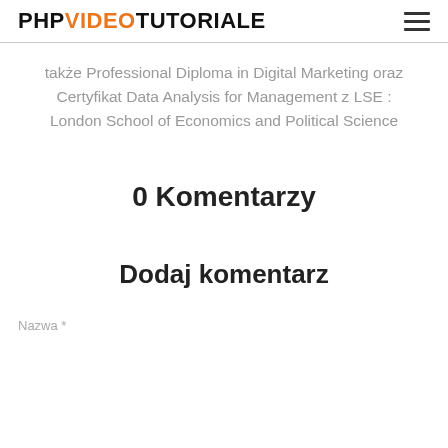PHPVIDEOTUTORIALE
także Professional Diploma in Digital Marketing oraz Certyfikat Data Analysis for Management z LSE : London School of Economics and Political Science
0 Komentarzy
Dodaj komentarz
Nazwa *